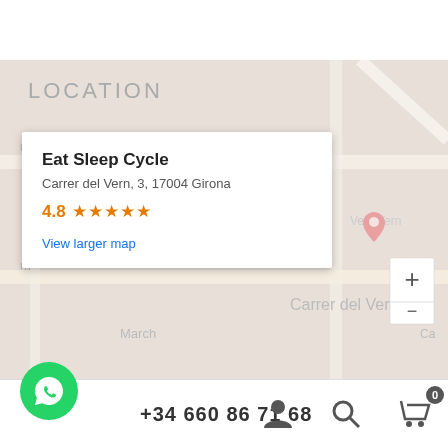LOCATION
[Figure (map): Google Maps embed showing location of Eat Sleep Cycle at Carrer del Vern, 3, 17004 Girona, with a popup info card showing name, address, 4.8 star rating, and 'View larger map' link. Map labels include 'nt Verdager', 'Eat Sleep Cycle', 'Velo Vern', 'Carrer del Vern', 'March', and a zoom control. Pink map pin markers visible.]
Eat Sleep Cycle
Carrer del Vern, 3, 17004 Girona
4.8 ★★★★★
View larger map
+34 660 86 71 68